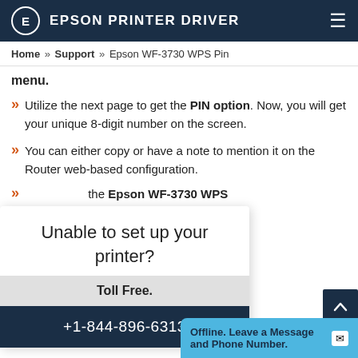E EPSON PRINTER DRIVER
Home » Support » Epson WF-3730 WPS Pin
menu.
Utilize the next page to get the PIN option. Now, you will get your unique 8-digit number on the screen.
You can either copy or have a note to mention it on the Router web-based configuration.
... the Epson WF-3730 WPS
[Figure (screenshot): Popup widget: Unable to set up your printer? Toll Free. +1-844-896-6313]
[Figure (screenshot): Chat widget: Offline. Leave a Message and Phone Number. with envelope icon]